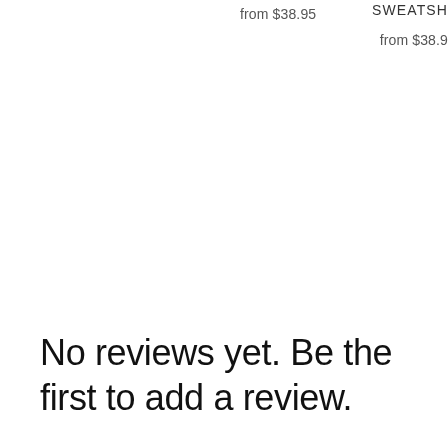from $38.95
SWEATSH
from $38.9
No reviews yet. Be the first to add a review.
Write a Review
Contact Us
Refund Policy